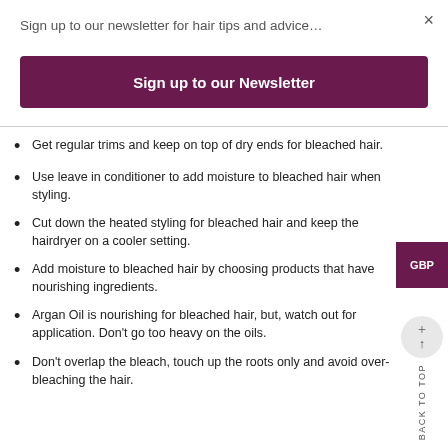Sign up to our newsletter for hair tips and advice…
×
Sign up to our Newsletter
Get regular trims and keep on top of dry ends for bleached hair.
Use leave in conditioner to add moisture to bleached hair when styling.
Cut down the heated styling for bleached hair and keep the hairdryer on a cooler setting.
Add moisture to bleached hair by choosing products that have nourishing ingredients.
Argan Oil is nourishing for bleached hair, but, watch out for application. Don't go too heavy on the oils.
Don't overlap the bleach, touch up the roots only and avoid over-bleaching the hair.